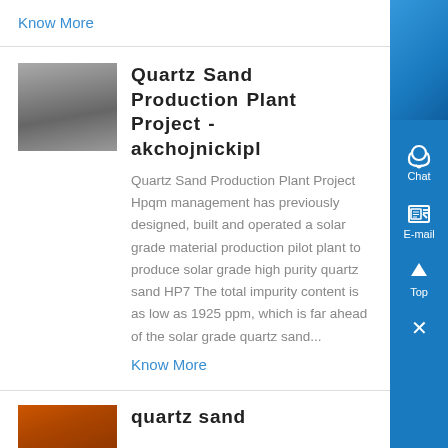Know More
Quartz Sand Production Plant Project - akchojnickipl
Quartz Sand Production Plant Project Hpqm management has previously designed, built and operated a solar grade material production pilot plant to produce solar grade high purity quartz sand HP7 The total impurity content is as low as 1925 ppm, which is far ahead of the solar grade quartz sand...
Know More
quartz sand
[Figure (photo): Industrial machinery or equipment, greyscale photo of a manufacturing plant component]
[Figure (photo): Partial photo of a reddish/orange industrial material or quartz sand]
[Figure (illustration): Blue sidebar with chat, e-mail, top navigation, and close icons]